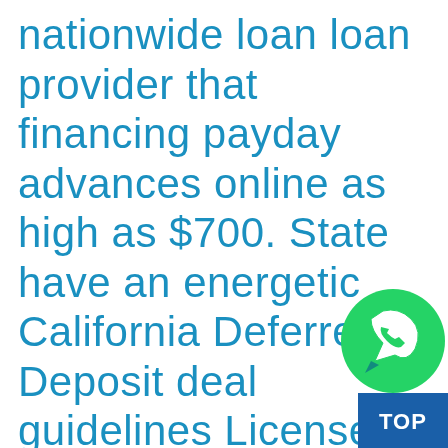nationwide loan loan provider that financing payday advances online as high as $700. State have an energetic California Deferred Deposit deal guidelines License since 2021. Put on b 2pm to get money into your banking
[Figure (illustration): WhatsApp button - green circle with white phone/chat icon]
[Figure (other): Blue rectangle with TOP text in white]